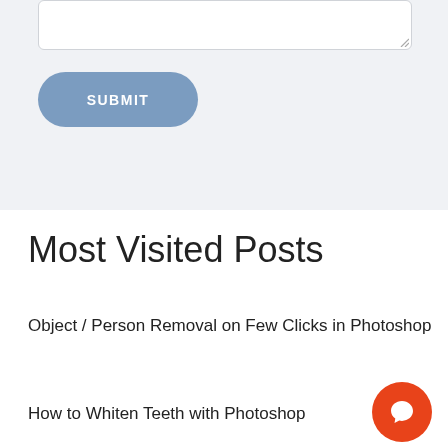[Figure (screenshot): Textarea input box with resize handle in top-right corner, on a light gray background]
[Figure (other): Blue rounded submit button with white text SUBMIT]
Most Visited Posts
Object / Person Removal on Few Clicks in Photoshop
How to Whiten Teeth with Photoshop
[Figure (other): Orange circular chat/comment button in bottom-right corner]